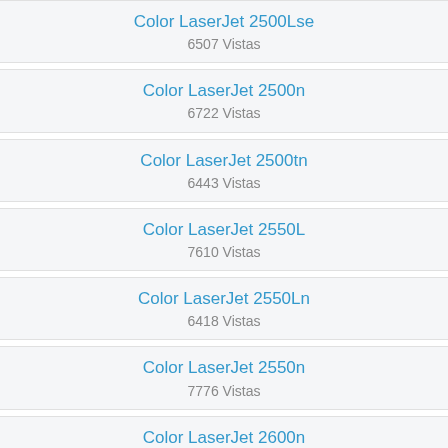Color LaserJet 2500Lse
6507 Vistas
Color LaserJet 2500n
6722 Vistas
Color LaserJet 2500tn
6443 Vistas
Color LaserJet 2550L
7610 Vistas
Color LaserJet 2550Ln
6418 Vistas
Color LaserJet 2550n
7776 Vistas
Color LaserJet 2600n
13526 Vistas